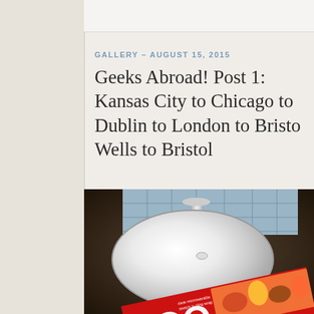GALLERY – AUGUST 15, 2015
Geeks Abroad! Post 1: Kansas City to Chicago to Dublin to London to Bristol Wells to Bristol
[Figure (photo): A bathroom sink with a dark granite countertop, stainless steel faucet, and blue/grey mosaic backsplash tiles. A red Zoo Wrap (cling wrap) box is placed on the counter in front of the sink.]